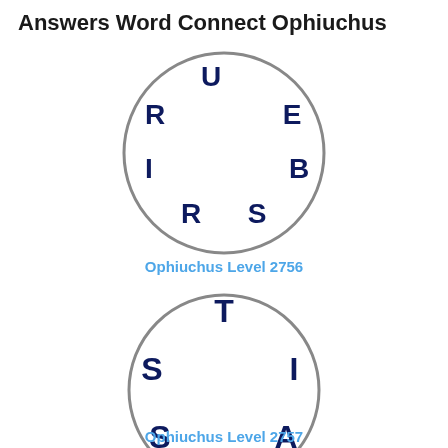Answers Word Connect Ophiuchus
[Figure (illustration): Circle with letters U, E, B, S, R, I arranged around the perimeter for Word Connect puzzle Ophiuchus Level 2756]
Ophiuchus Level 2756
[Figure (illustration): Circle with letters T, I, A, S, S arranged around the perimeter for Word Connect puzzle Ophiuchus Level 2757]
Ophiuchus Level 2757